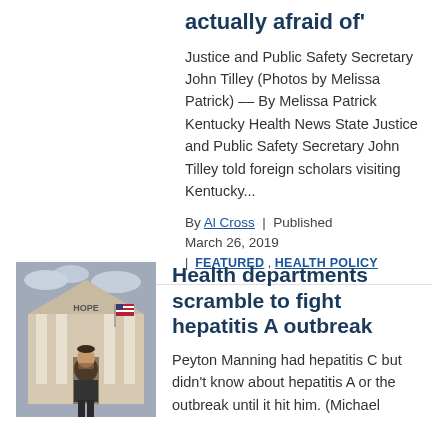actually afraid of'
Justice and Public Safety Secretary John Tilley (Photos by Melissa Patrick) –– By Melissa Patrick Kentucky Health News State Justice and Public Safety Secretary John Tilley told foreign scholars visiting Kentucky...
By Al Cross | Published March 26, 2019 | FEATURED , HEALTH POLICY
[Figure (photo): Man standing in front of a building with columns and a sign reading HOPE, with an American flag visible.]
Health departments scramble to fight hepatitis A outbreak
Peyton Manning had hepatitis C but didn't know about hepatitis A or the outbreak until it hit him. (Michael